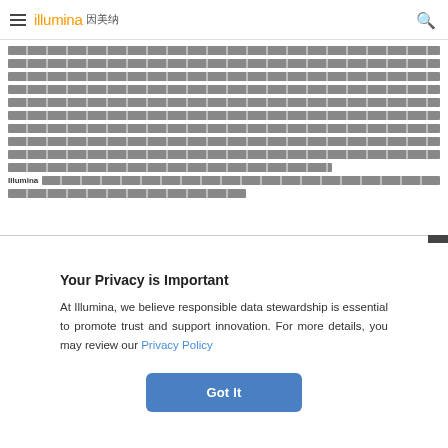illumina 因美纳
[Redacted/blurred body text with Illumina inline reference]
Your Privacy is Important
At Illumina, we believe responsible data stewardship is essential to promote trust and support innovation. For more details, you may review our Privacy Policy
Got It